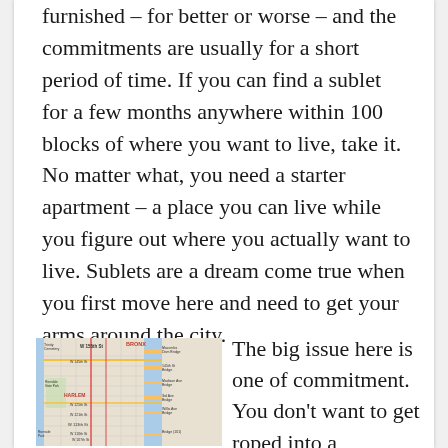furnished – for better or worse – and the commitments are usually for a short period of time. If you can find a sublet for a few months anywhere within 100 blocks of where you want to live, take it. No matter what, you need a starter apartment – a place you can live while you figure out where you actually want to live. Sublets are a dream come true when you first move here and need to get your arms around the city.
[Figure (map): Street map showing upper Manhattan / Harlem area and the Bronx, with labeled streets, bridges (Macombs Dam Bridge, 145th St Bridge, Madison Ave Bridge, 3rd Ave Bridge, Willis Ave Bridge, Triborough Bridge), landmarks (Trinity Cemetery, Riverdale State Park, Harlem), and major roads.]
The big issue here is one of commitment. You don't want to get roped into a